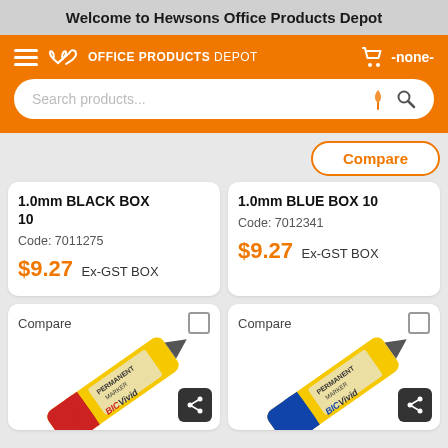Welcome to Hewsons Office Products Depot
[Figure (screenshot): Orange navigation bar with hamburger menu, Office Products Depot logo, cart icon showing -none-, and a search bar with mic and search icons]
1.0mm BLACK BOX 10
Code: 7011275
$9.27 Ex-GST BOX
1.0mm BLUE BOX 10
Code: 7012341
$9.27 Ex-GST BOX
[Figure (photo): BIC Vivid permanent marker in red/yellow packaging, partially visible at bottom of page]
[Figure (photo): BIC Vivid permanent marker in blue/yellow packaging, partially visible at bottom of page]